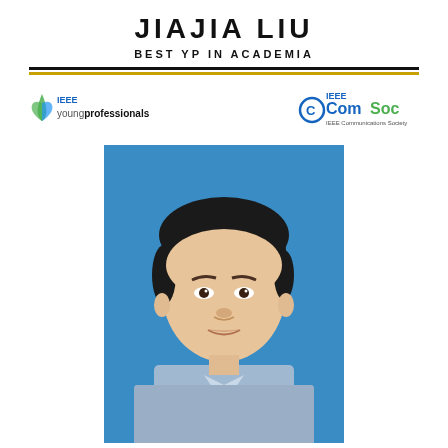JIAJIA LIU
BEST YP IN ACADEMIA
[Figure (logo): IEEE Young Professionals logo on the left and IEEE ComSoc (IEEE Communications Society) logo on the right]
[Figure (photo): Portrait photograph of Jiajia Liu, a man with dark hair wearing a light blue checked shirt, against a blue background]